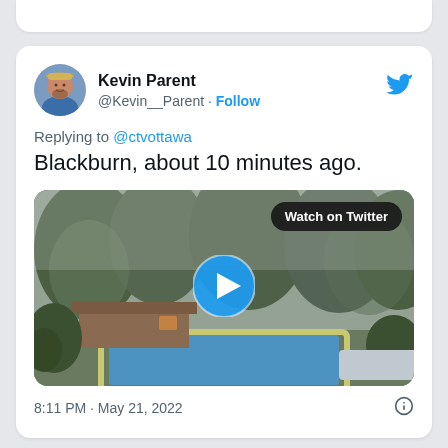Kevin Parent @Kevin__Parent · Follow
Replying to @ctvottawa
Blackburn, about 10 minutes ago.
[Figure (screenshot): A video thumbnail showing a misty outdoor scene with a swimming pool, shed/building structure, and trees in foggy conditions. A blue circular play button is centered on the image. A 'Watch on Twitter' badge appears in the top-right corner.]
8:11 PM · May 21, 2022